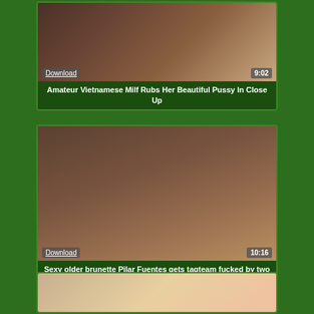[Figure (screenshot): Thumbnail image of adult video with Download button and 9:02 duration overlay]
Amateur Vietnamese Milf Rubs Her Beautiful Pussy In Close Up
[Figure (screenshot): Thumbnail image of adult video with Download button and 10:16 duration overlay]
Sexy older brunette Pilar Fuentes gets tagteam fucked by two guys in close up
[Figure (screenshot): Partial thumbnail of a third adult video]